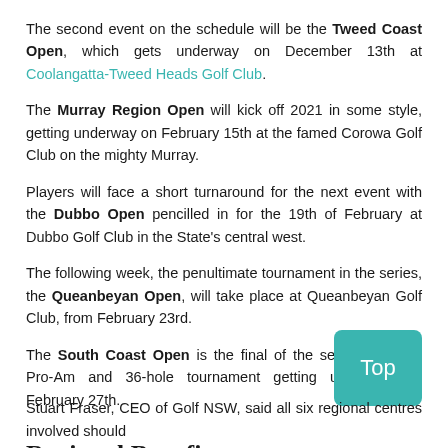The second event on the schedule will be the Tweed Coast Open, which gets underway on December 13th at Coolangatta-Tweed Heads Golf Club.
The Murray Region Open will kick off 2021 in some style, getting underway on February 15th at the famed Corowa Golf Club on the mighty Murray.
Players will face a short turnaround for the next event with the Dubbo Open pencilled in for the 19th of February at Dubbo Golf Club in the State's central west.
The following week, the penultimate tournament in the series, the Queanbeyan Open, will take place at Queanbeyan Golf Club, from February 23rd.
The South Coast Open is the final of the series, with the Pro-Am and 36-hole tournament getting underway on February 27th.
Regional Benefits
[Figure (other): Teal/turquoise rounded rectangle button with white text 'Top']
Stuart Fraser, CEO of Golf NSW, said all six regional centres involved should